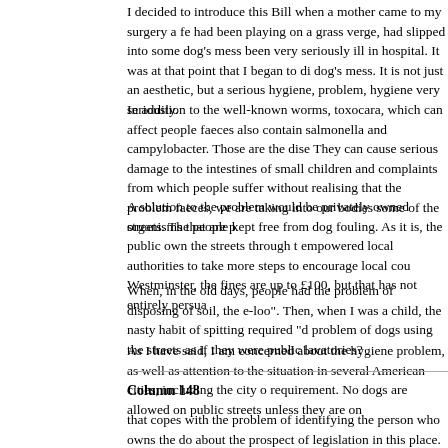I decided to introduce this Bill when a mother came to my surgery a fe had been playing on a grass verge, had slipped into some dog's mess been very seriously ill in hospital. It was at that point that I began to di dog's mess. It is not just an aesthetic, but a serious hygiene, problem, hygiene very seriously.
In addition to the well-known worms, toxocara, which can affect people faeces also contain salmonella and campylobacter. Those are the dise They can cause serious damage to the intestines of small children and complaints from which people suffer without realising that the problem faeces, we are taking into our bodies some of the organisms that are p
A solution to the problem would be privately owned streets. The people kept free from dog fouling. As it is, the public own the streets through t empowered local authorities to take more steps to encourage local cou Westminster, the fines are up to £100, but that has not entirely persua
When, in the old days, people had the problem of disposing of soil, the e-loo". Then, when I was a child, the nasty habit of spitting required "d problem of dogs using the streets as if they were public lavatories?
As I have said, I am concerned about the hygiene problem, as well as attention to the situation in several American cities, including the city o requirement. No dogs are allowed on public streets unless they are on
Column 148
that copes with the problem of identifying the person who owns the do about the prospect of legislation in this place. I recommend to the Sec that problem. I am waiting to see, however, how the measures that the